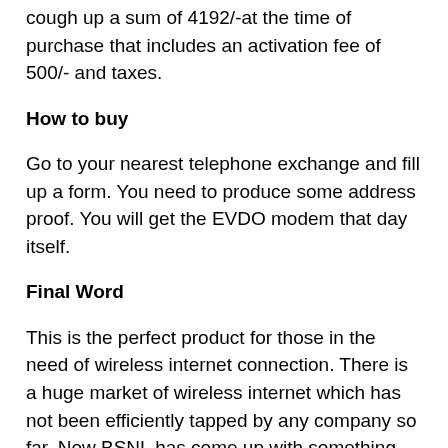cough up a sum of 4192/-at the time of purchase that includes an activation fee of 500/- and taxes.
How to buy
Go to your nearest telephone exchange and fill up a form. You need to produce some address proof. You will get the EVDO modem that day itself.
Final Word
This is the perfect product for those in the need of wireless internet connection. There is a huge market of wireless internet which has not been efficiently tapped by any company so far. Now BSNL has come up with something really great but they suck at marketing! Hardly anyone knows